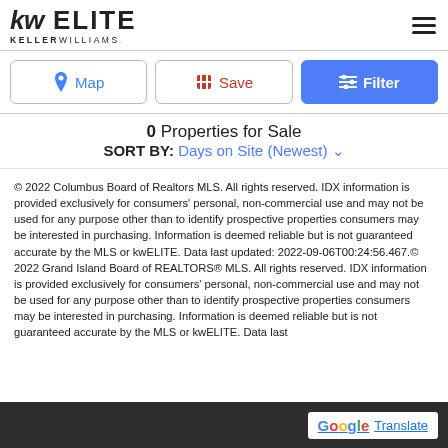kw ELITE KELLER WILLIAMS
Map | Save | Filter
0 Properties for Sale
SORT BY: Days on Site (Newest)
© 2022 Columbus Board of Realtors MLS. All rights reserved. IDX information is provided exclusively for consumers' personal, non-commercial use and may not be used for any purpose other than to identify prospective properties consumers may be interested in purchasing. Information is deemed reliable but is not guaranteed accurate by the MLS or kwELITE. Data last updated: 2022-09-06T00:24:56.467.© 2022 Grand Island Board of REALTORS® MLS. All rights reserved. IDX information is provided exclusively for consumers' personal, non-commercial use and may not be used for any purpose other than to identify prospective properties consumers may be interested in purchasing. Information is deemed reliable but is not guaranteed accurate by the MLS or kwELITE. Data last
G Translate